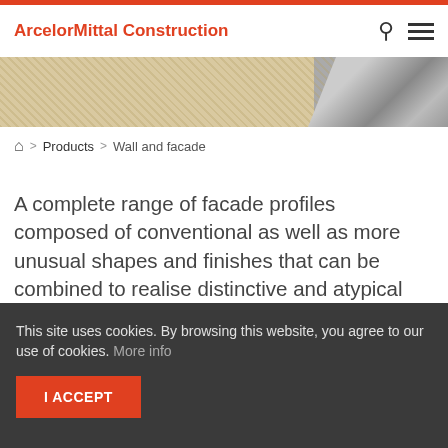ArcelorMittal Construction
[Figure (photo): Hero banner image showing sandy/stone texture on the left and metallic construction material on the right]
> Products > Wall and facade
A complete range of facade profiles composed of conventional as well as more unusual shapes and finishes that can be combined to realise distinctive and atypical facades. Available for use as double skin or exterior wall cladding, our extensive, modular range comes with perforated or non perforated options and can be tailor made to meet the
This site uses cookies. By browsing this website, you agree to our use of cookies. More info